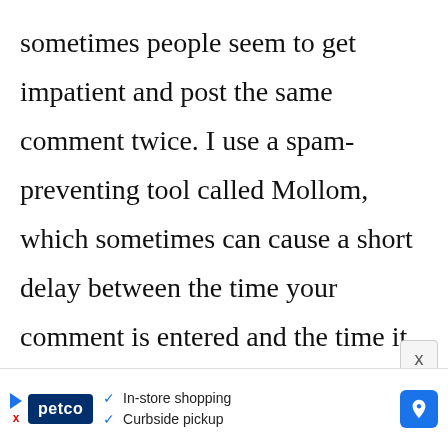sometimes people seem to get impatient and post the same comment twice. I use a spam-preventing tool called Mollom, which sometimes can cause a short delay between the time your comment is entered and the time it appears. So please wait a bit before submitting another comment.) Remember: You need to give me
[Figure (infographic): Advertisement banner for Petco showing in-store shopping and curbside pickup options, with a blue navigation arrow icon on the right.]